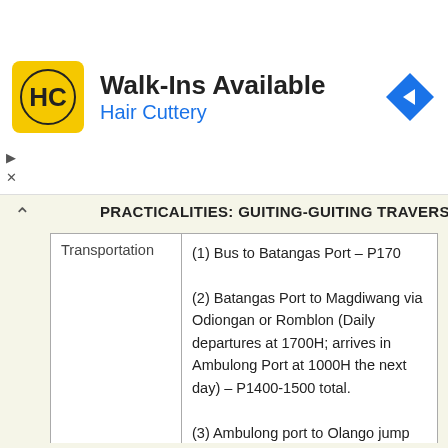[Figure (logo): Hair Cuttery advertisement banner with HC logo, 'Walk-Ins Available' heading, 'Hair Cuttery' subtitle in blue, and a blue navigation diamond icon.]
PRACTICALITIES: GUITING-GUITING TRAVERSE
| Transportation |  |
| --- | --- |
| Transportation | (1) Bus to Batangas Port – P170
(2) Batangas Port to Magdiwang via Odiongan or Romblon (Daily departures at 1700H; arrives in Ambulong Port at 1000H the next day) – P1400-1500 total.
(3) Ambulong port to Olango jump off – P400 per person by tricycle; cheaper if renting a jeep with more people |